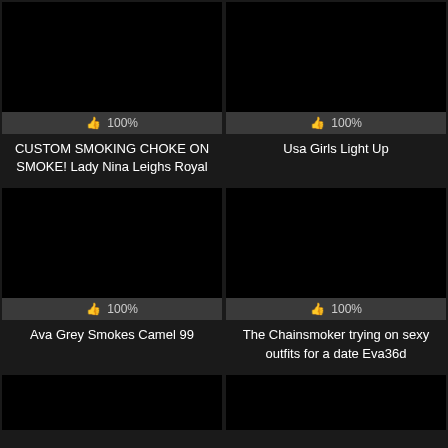[Figure (screenshot): Black thumbnail image for video card 1]
👍 100%
CUSTOM SMOKING CHOKE ON SMOKE! Lady Nina Leighs Royal
[Figure (screenshot): Black thumbnail image for video card 2]
👍 100%
Usa Girls Light Up
[Figure (screenshot): Black thumbnail image for video card 3]
👍 100%
Ava Grey Smokes Camel 99
[Figure (screenshot): Black thumbnail image for video card 4]
👍 100%
The Chainsmoker trying on sexy outfits for a date Eva36d
[Figure (screenshot): Black thumbnail image for video card 5 (partial)]
[Figure (screenshot): Black thumbnail image for video card 6 (partial)]